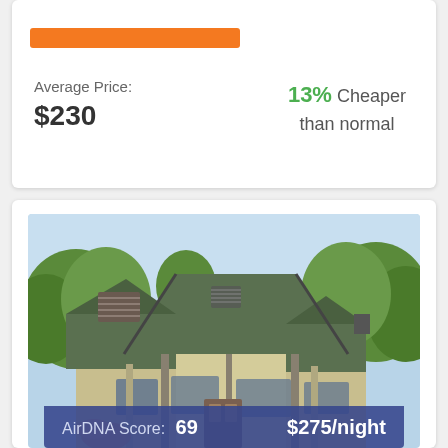[Figure (logo): Map/location icon in blue at top right]
Average Price: $230
13% Cheaper than normal
[Figure (photo): Photo of a craftsman-style house with green roof and wood siding, trees in background]
AirDNA Score: 69   $275/night